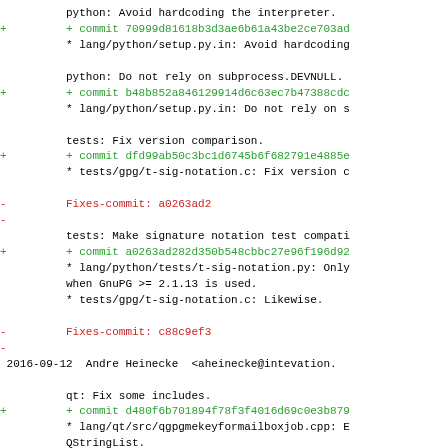python: Avoid hardcoding the interpreter.
+ commit 70999d81618b3d3ae6b61a43be2ce703ad
* lang/python/setup.py.in: Avoid hardcoding
python: Do not rely on subprocess.DEVNULL.
+ commit b48b852a846129914d6c63ec7b47388cdc
* lang/python/setup.py.in: Do not rely on s
tests: Fix version comparison.
+ commit dfd99ab50c3bc1d6745b6f682791e4885e
* tests/gpg/t-sig-notation.c: Fix version c
- Fixes-commit: a0263ad2
-
tests: Make signature notation test compati
+ commit a0263ad282d350b548cbbc27e96f196d92
* lang/python/tests/t-sig-notation.py: Only
when GnuPG >= 2.1.13 is used.
* tests/gpg/t-sig-notation.c: Likewise.
- Fixes-commit: c88c9ef3
-
2016-09-12  Andre Heinecke  <aheinecke@intevation.
qt: Fix some includes.
+ commit d480f6b701894f78f3f4016d69c0e3b879
* lang/qt/src/qgpgmekeyformailboxjob.cpp: E
QStringList.
* lang/qt/tests/t-support.h, lang/qt/tests/